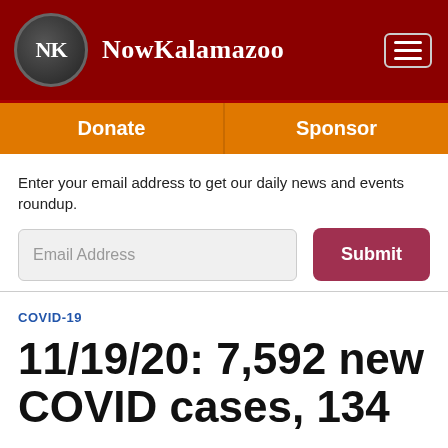NowKalamazoo
Donate | Sponsor
Enter your email address to get our daily news and events roundup.
Email Address
Submit
COVID-19
11/19/20: 7,592 new COVID cases, 134